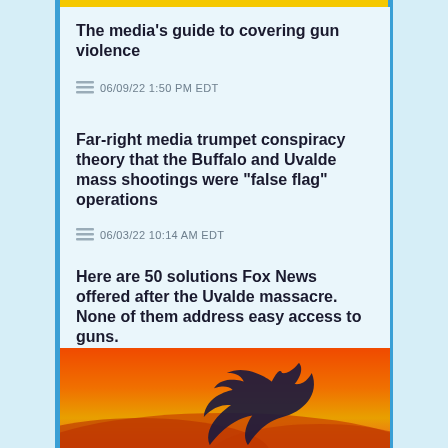The media’s guide to covering gun violence
06/09/22 1:50 PM EDT
Far-right media trumpet conspiracy theory that the Buffalo and Uvalde mass shootings were “false flag” operations
06/03/22 10:14 AM EDT
Here are 50 solutions Fox News offered after the Uvalde massacre. None of them address easy access to guns.
05/25/22 5:59 PM EDT
LGBTQ
[Figure (photo): Twitter bird logo silhouette on a warm red-orange gradient background]